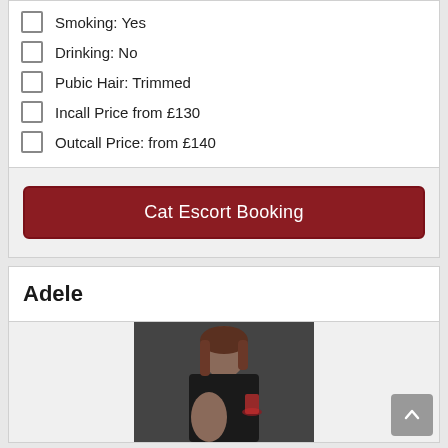Smoking: Yes
Drinking: No
Pubic Hair: Trimmed
Incall Price from £130
Outcall Price: from £140
Cat Escort Booking
Adele
[Figure (photo): Photo of a woman with brown hair holding a red drink in what appears to be a kitchen setting]